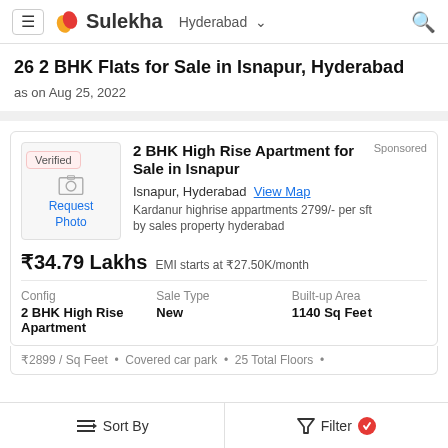Sulekha  Hyderabad
26 2 BHK Flats for Sale in Isnapur, Hyderabad
as on Aug 25, 2022
Sponsored
2 BHK High Rise Apartment for Sale in Isnapur
Isnapur, Hyderabad  View Map
Kardanur highrise appartments 2799/- per sft
by sales property hyderabad
₹34.79 Lakhs  EMI starts at ₹27.50K/month
| Config | Sale Type | Built-up Area |
| --- | --- | --- |
| 2 BHK High Rise Apartment | New | 1140 Sq Feet |
₹2899 / Sq Feet  •  Covered car park  •  25 Total Floors  •
Sort By    Filter